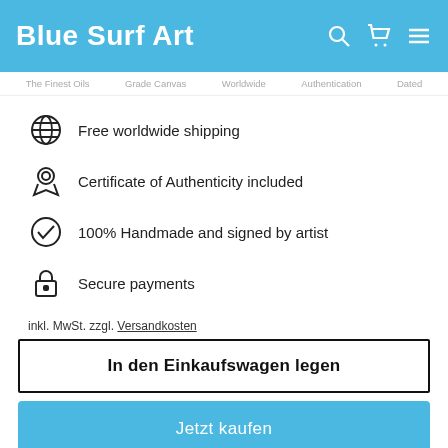Blue Surf Art
The Finest Oils  Grade Canvas  Worldwide  Authentication  Dated
Free worldwide shipping
Certificate of Authenticity included
100% Handmade and signed by artist
Secure payments
inkl. MwSt. zzgl. Versandkosten
In den Einkaufswagen legen
Jetzt kaufen